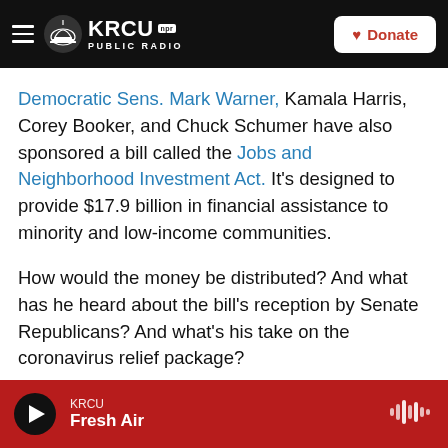KRCU NPR PUBLIC RADIO | Donate
Democratic Sens. Mark Warner, Kamala Harris, Corey Booker, and Chuck Schumer have also sponsored a bill called the Jobs and Neighborhood Investment Act. It's designed to provide $17.9 billion in financial assistance to minority and low-income communities.
How would the money be distributed? And what has he heard about the bill's reception by Senate Republicans? And what's his take on the coronavirus relief package?
We ask Virginia Senator Mark Warner these
KRCU Fresh Air